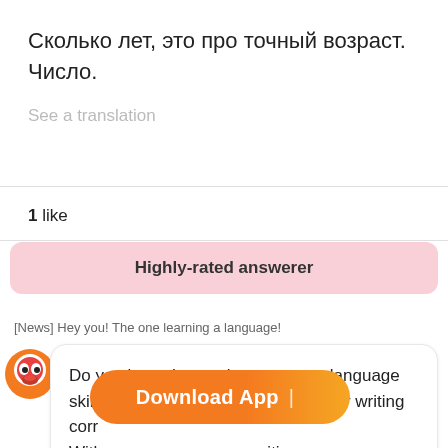Сколько лет, это про точный возраст. Число.
See a translation
1 like
Highly-rated answerer
[News] Hey you! The one learning a language!
Do you know how to improve your language skills? All you have to do is have your writing corrected. With writing corrected by native speakers for free 📝.
[Figure (illustration): Orange mascot character (Hinative app logo) - round creature with red/orange coloring]
Download App  |